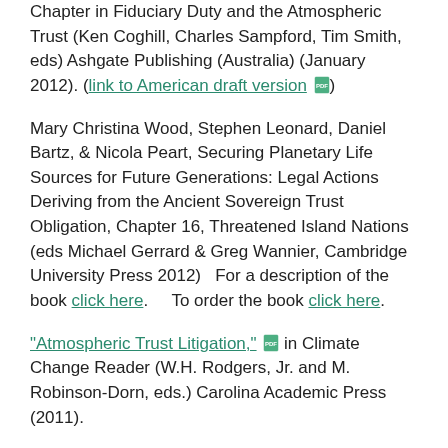Chapter in Fiduciary Duty and the Atmospheric Trust (Ken Coghill, Charles Sampford, Tim Smith, eds) Ashgate Publishing (Australia) (January 2012). (link to American draft version [pdf])
Mary Christina Wood, Stephen Leonard, Daniel Bartz, & Nicola Peart, Securing Planetary Life Sources for Future Generations: Legal Actions Deriving from the Ancient Sovereign Trust Obligation, Chapter 16, Threatened Island Nations (eds Michael Gerrard & Greg Wannier, Cambridge University Press 2012)   For a description of the book click here.     To order the book click here.
"Atmospheric Trust Litigation," [pdf] in Climate Change Reader (W.H. Rodgers, Jr. and M. Robinson-Dorn, eds.) Carolina Academic Press (2011).
"'You Can't Negotiate With a Beetle': Environmental